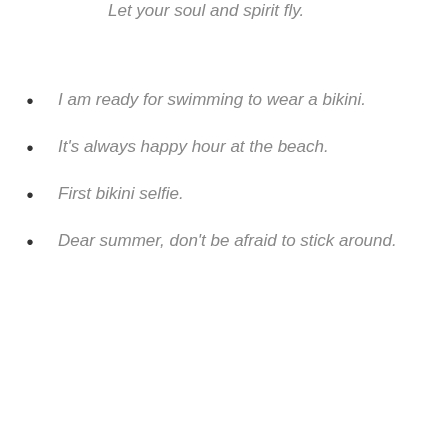Let your soul and spirit fly.
I am ready for swimming to wear a bikini.
It's always happy hour at the beach.
First bikini selfie.
Dear summer, don't be afraid to stick around.